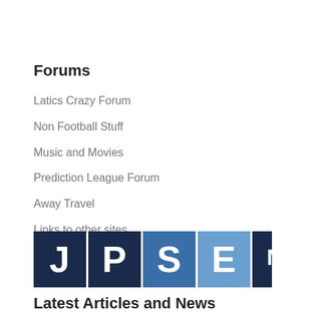Forums
Latics Crazy Forum
Non Football Stuff
Music and Movies
Prediction League Forum
Away Travel
Links to other sites
[Figure (logo): JPSE Media Limited logo — blue and dark blue tiles with letters J, P, S, E and MEDIA Limited text]
Latest Articles and News
Charlie Wyke back to full training and match fit